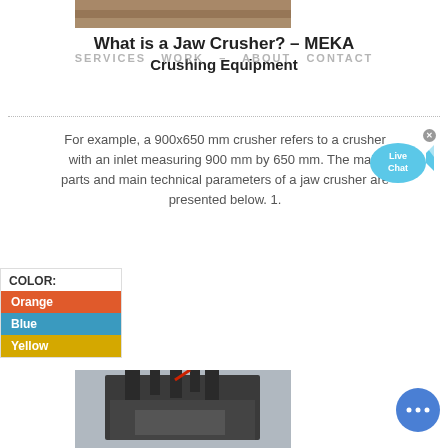[Figure (photo): Top portion of a jaw crusher machine, brown/tan industrial equipment]
What is a Jaw Crusher? – MEKA Crushing Equipment
SERVICES   WORK   ABOUT   CONTACT
For example, a 900x650 mm crusher refers to a crusher with an inlet measuring 900 mm by 650 mm. The main parts and main technical parameters of a jaw crusher are presented below. 1.
[Figure (illustration): Live Chat speech bubble icon with fish/arrow shape in cyan/blue]
[Figure (infographic): COLOR panel with Orange, Blue, Yellow color swatches]
[Figure (photo): Jaw crusher machine, dark industrial equipment on construction site]
[Figure (illustration): Blue circular chat button with three dots]